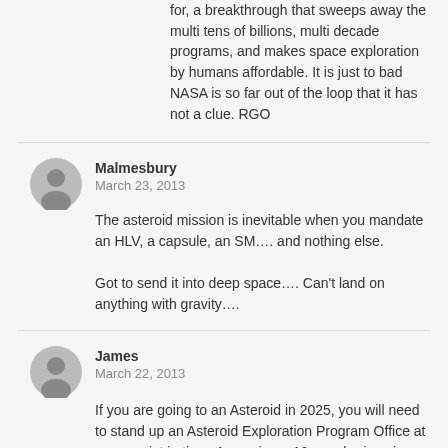for, a breakthrough that sweeps away the multi tens of billions, multi decade programs, and makes space exploration by humans affordable. It is just to bad NASA is so far out of the loop that it has not a clue. RGO
Malmesbury
March 23, 2013
The asteroid mission is inevitable when you mandate an HLV, a capsule, an SM…. and nothing else.
Got to send it into deep space…. Can't land on anything with gravity….
James
March 22, 2013
If you are going to an Asteroid in 2025, you will need to stand up an Asteroid Exploration Program Office at some point in time. Assuming a 10 year horizon is adequate, I would expect there to be a Program Office stood up in 2015. 2016 at the latest.
NASA is right now preparing the 5 year budget requests